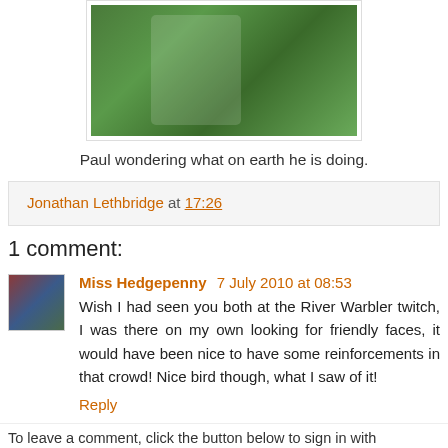[Figure (photo): Photo of a person wearing a backpack in a forest/green outdoor setting, viewed from behind/side]
Paul wondering what on earth he is doing.
Jonathan Lethbridge at 17:26
1 comment:
Miss Hedgepenny 7 July 2010 at 08:53
Wish I had seen you both at the River Warbler twitch, I was there on my own looking for friendly faces, it would have been nice to have some reinforcements in that crowd! Nice bird though, what I saw of it!
Reply
To leave a comment, click the button below to sign in with